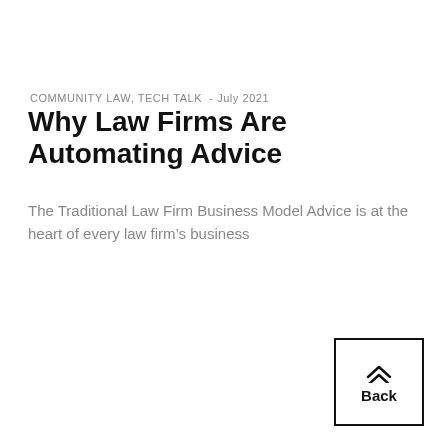COMMUNITY LAW, TECH TALK  - July 2021
Why Law Firms Are Automating Advice
The Traditional Law Firm Business Model Advice is at the heart of every law firm's business
[Figure (other): Back navigation button with double chevron up arrow and 'Back' label, enclosed in a black border box]